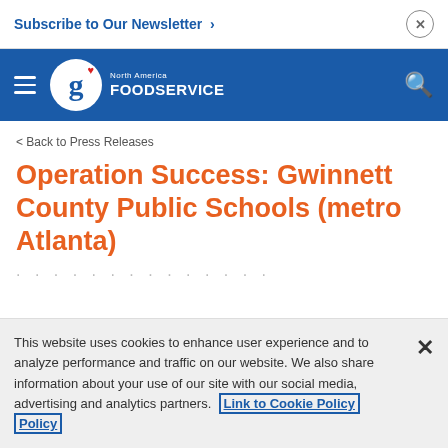Subscribe to Our Newsletter ›
[Figure (logo): General Mills North America Foodservice logo on blue navigation bar]
< Back to Press Releases
Operation Success: Gwinnett County Public Schools (metro Atlanta)
This website uses cookies to enhance user experience and to analyze performance and traffic on our website. We also share information about your use of our site with our social media, advertising and analytics partners. Link to Cookie Policy